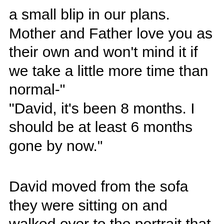a small blip in our plans. Mother and Father love you as their own and won't mind it if we take a little more time than normal-" "David, it's been 8 months. I should be at least 6 months gone by now."

David moved from the sofa they were sitting on and walked over to the portrait that showed the line of succession to the throne. The photo was